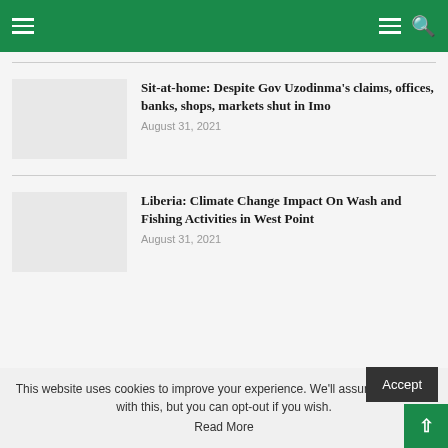Navigation header with hamburger menus and search icon
Sit-at-home: Despite Gov Uzodinma's claims, offices, banks, shops, markets shut in Imo
August 31, 2021
Liberia: Climate Change Impact On Wash and Fishing Activities in West Point
August 31, 2021
This website uses cookies to improve your experience. We'll assume you're ok with this, but you can opt-out if you wish.
Read More